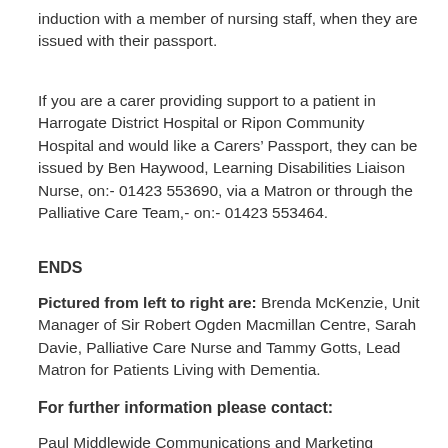induction with a member of nursing staff, when they are issued with their passport.
If you are a carer providing support to a patient in Harrogate District Hospital or Ripon Community Hospital and would like a Carers' Passport, they can be issued by Ben Haywood, Learning Disabilities Liaison Nurse, on:- 01423 553690, via a Matron or through the Palliative Care Team,- on:- 01423 553464.
ENDS
Pictured from left to right are: Brenda McKenzie, Unit Manager of Sir Robert Ogden Macmillan Centre, Sarah Davie, Palliative Care Nurse and Tammy Gotts, Lead Matron for Patients Living with Dementia.
For further information please contact:
Paul Middlewide Communications and Marketing